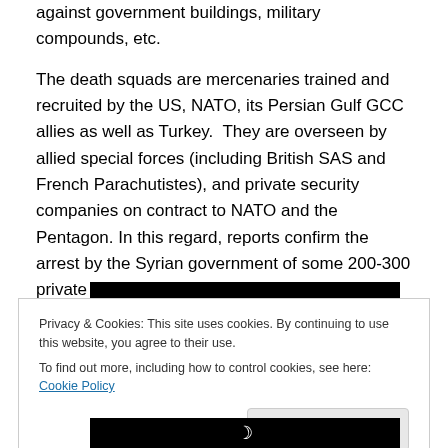against government buildings, military compounds, etc.
The death squads are mercenaries trained and recruited by the US, NATO, its Persian Gulf GCC allies as well as Turkey.  They are overseen by allied special forces (including British SAS and French Parachutistes), and private security companies on contract to NATO and the Pentagon. In this regard, reports confirm the arrest by the Syrian government of some 200-300 private security company employees who had integrated rebel ranks.
[Figure (photo): Black banner image with white Arabic/stylized text, appearing to be an ISIS or similar militant group flag banner.]
Privacy & Cookies: This site uses cookies. By continuing to use this website, you agree to their use.
To find out more, including how to control cookies, see here: Cookie Policy
[Figure (photo): Bottom portion of black banner image with a partial moon/crescent symbol visible.]